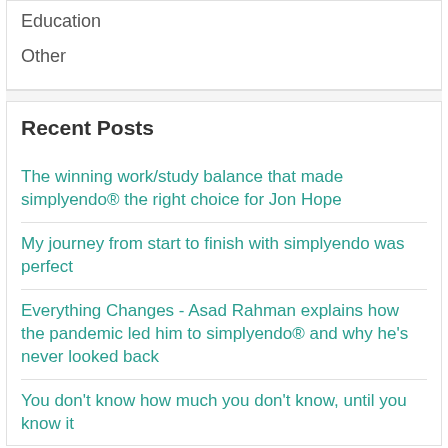Education
Other
Recent Posts
The winning work/study balance that made simplyendo® the right choice for Jon Hope
My journey from start to finish with simplyendo was perfect
Everything Changes - Asad Rahman explains how the pandemic led him to simplyendo® and why he's never looked back
You don't know how much you don't know, until you know it